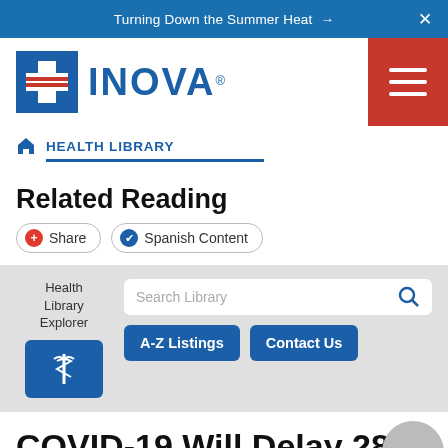Turning Down the Summer Heat →
[Figure (logo): Inova Health System logo with blue cross icon and INOVA text]
HEALTH LIBRARY
Related Reading
Share | Spanish Content
Health Library Explorer | Search Library | A-Z Listings | Contact Us
COVID-19 Will Delay 28